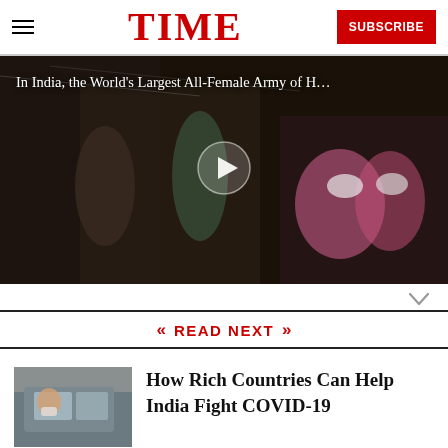TIME | SUBSCRIBE
[Figure (photo): Video thumbnail showing women in pink uniforms wearing masks in a narrow alley in India. Title overlay reads: In India, the World's Largest All-Female Army of H...]
« READ NEXT »
[Figure (photo): Thumbnail image showing people in a car, related to COVID-19 vaccination or healthcare in India]
How Rich Countries Can Help India Fight COVID-19